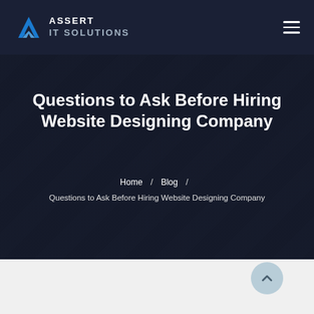Assert IT Solutions — navigation header with logo and hamburger menu
Questions to Ask Before Hiring Website Designing Company
Home / Blog / Questions to Ask Before Hiring Website Designing Company
[Figure (screenshot): Dark background hero section with blurred laptop and phone imagery]
[Figure (other): Light blue circular scroll-to-top button with upward chevron arrow]